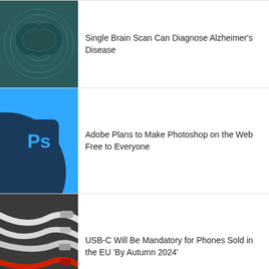[Figure (photo): Brain scan MRI image with circular patterns on dark teal background]
Single Brain Scan Can Diagnose Alzheimer's Disease
[Figure (logo): Adobe Photoshop logo - blue background with Ps icon]
Adobe Plans to Make Photoshop on the Web Free to Everyone
[Figure (photo): USB-C cables tangled together, white and red cables on dark background]
USB-C Will Be Mandatory for Phones Sold in the EU 'By Autumn 2024'
[Figure (photo): Hand holding a smartphone being repaired, opened device]
NY State Passes First Ever 'Right to Repair' Law
[Figure (photo): Drone flying against blue sky]
Walmart Announces Same-Day Drone Delivery in Six States